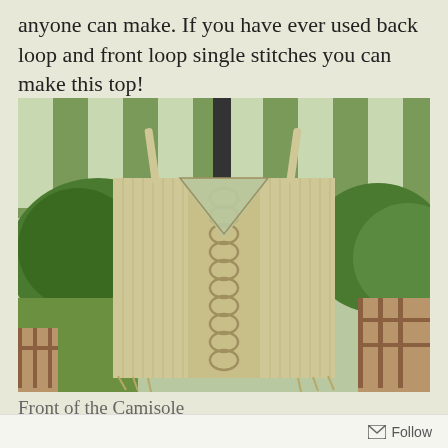anyone can make. If you have ever used back loop and front loop single stitches you can make this top!
[Figure (photo): A crocheted camisole top in cream/beige color hanging from a hook under a striped green and white awning, with trees and a backyard fence visible in the background. The camisole features a decorative braid/chain stitch panel down the center front.]
Front of the Camisole
Follow